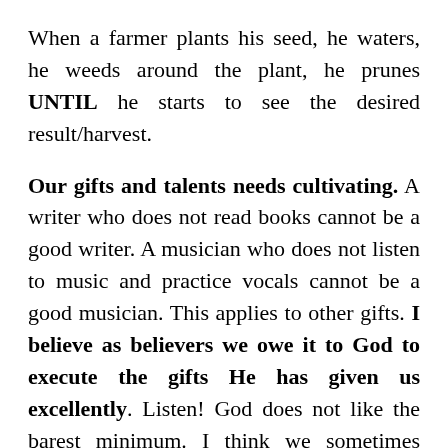When a farmer plants his seed, he waters, he weeds around the plant, he prunes UNTIL he starts to see the desired result/harvest.
Our gifts and talents needs cultivating. A writer who does not read books cannot be a good writer. A musician who does not listen to music and practice vocals cannot be a good musician. This applies to other gifts. I believe as believers we owe it to God to execute the gifts He has given us excellently. Listen! God does not like the barest minimum. I think we sometimes misinterpret the widow's mite by thinking she gave little. Even if it was little, it was her all. The woman who lost her coin, she is...